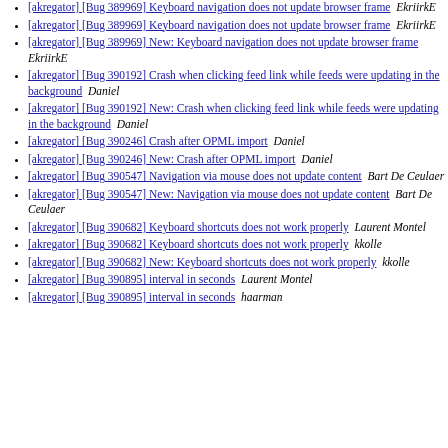[akregator] [Bug 389969] Keyboard navigation does not update browser frame  EkriirkE
[akregator] [Bug 389969] Keyboard navigation does not update browser frame  EkriirkE
[akregator] [Bug 389969] New: Keyboard navigation does not update browser frame  EkriirkE
[akregator] [Bug 390192] Crash when clicking feed link while feeds were updating in the background  Daniel
[akregator] [Bug 390192] New: Crash when clicking feed link while feeds were updating in the background  Daniel
[akregator] [Bug 390246] Crash after OPML import  Daniel
[akregator] [Bug 390246] New: Crash after OPML import  Daniel
[akregator] [Bug 390547] Navigation via mouse does not update content  Bart De Ceulaer
[akregator] [Bug 390547] New: Navigation via mouse does not update content  Bart De Ceulaer
[akregator] [Bug 390682] Keyboard shortcuts does not work properly  Laurent Montel
[akregator] [Bug 390682] Keyboard shortcuts does not work properly  kkolle
[akregator] [Bug 390682] New: Keyboard shortcuts does not work properly  kkolle
[akregator] [Bug 390895] interval in seconds  Laurent Montel
[akregator] [Bug 390895] interval in seconds  haarman